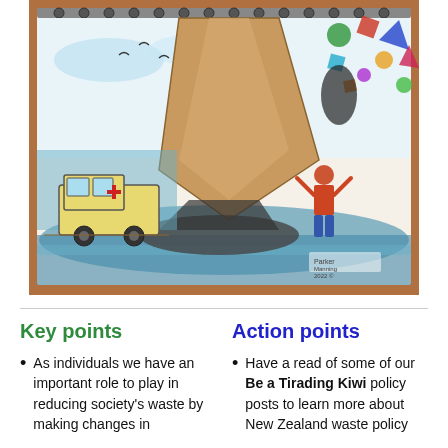[Figure (illustration): A watercolour/sketch illustration on a spiral-bound sketchbook showing a coastal cliff scene with an ambulance on the left, a person with arms raised on the right, seabirds in the sky, and colourful confetti-like shapes bursting at the top right. The sketchbook rests on a wooden surface.]
Key points
Action points
As individuals we have an important role to play in reducing society's waste by making changes in
Have a read of some of our Be a Tirading Kiwi policy posts to learn more about New Zealand waste policy